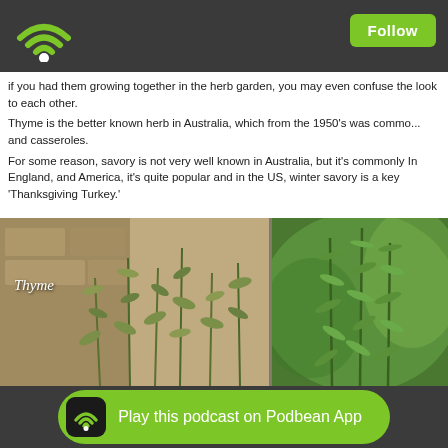[Figure (screenshot): Dark header bar with green WiFi logo on left and green Follow button on right]
if you had them growing together in the herb garden, you may even confuse the look to each other. Thyme is the better known herb in Australia, which from the 1950's was commonly used in and casseroles. For some reason, savory is not very well known in Australia, but it's commonly In England, and America, it's quite popular and in the US, winter savory is a key 'Thanksgiving Turkey.'
[Figure (photo): Two herb photos side by side: left shows thyme plant with stone wall background labeled 'Thyme', right shows savory herb with green blurred background]
[Figure (screenshot): Bottom banner: Play this podcast on Podbean App button with green background and Podbean WiFi icon]